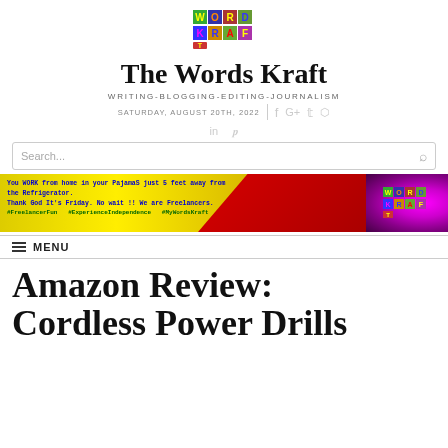[Figure (logo): Words Kraft colorful logo with letter blocks in green, blue, purple, yellow]
The Words Kraft
WRITING-BLOGGING-EDITING-JOURNALISM
SATURDAY, AUGUST 20TH, 2022
[Figure (infographic): Yellow and red banner: You WORK from home in your Pajamas just 5 feet away from the Refrigerator. Thank God It's Friday. No wait !! We are Freelancers. #FreelancerFun #ExperienceIndependence #MyWordsKraft]
≡ MENU
Amazon Review: Cordless Power Drills